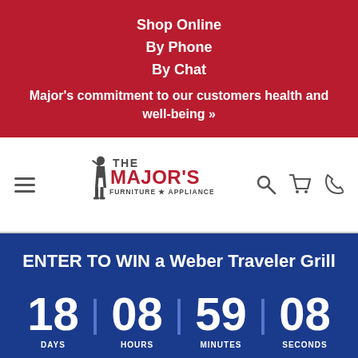Shop Online
By Phone
By Chat
Major's commitment to our customers health and well-being »
[Figure (logo): The Major's Furniture & Appliance logo with soldier silhouette]
ENTER TO WIN a Weber Traveler Grill
18 DAYS | 08 HOURS | 59 MINUTES | 08 SECONDS
SAVE NOW